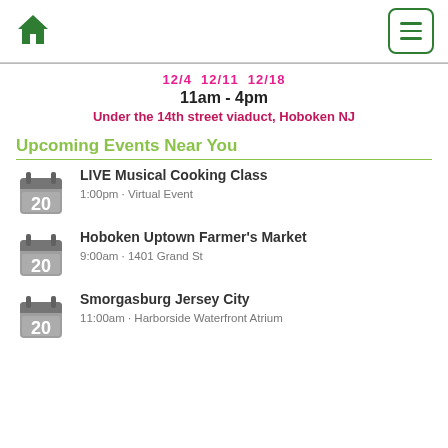[Figure (infographic): Green home icon in top-left nav bar]
[Figure (infographic): Green hamburger menu button in top-right nav bar]
12/4  12/11  12/18
11am - 4pm
Under the 14th street viaduct, Hoboken NJ
Upcoming Events Near You
LIVE Musical Cooking Class
1:00pm · Virtual Event
Hoboken Uptown Farmer's Market
9:00am · 1401 Grand St
Smorgasburg Jersey City
11:00am · Harborside Waterfront Atrium